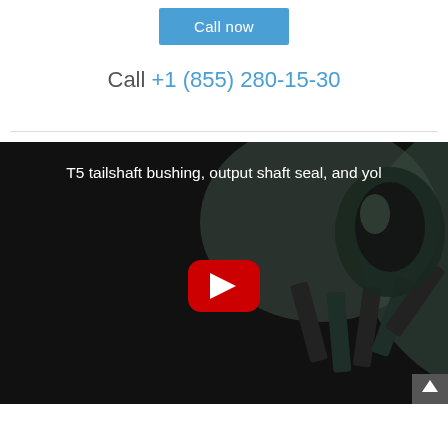Call now
Call +1 (855) 280-15-30
[Figure (screenshot): YouTube video thumbnail showing a dark mechanical gear/shaft assembly with a red YouTube play button in the center. Video title reads: T5 tailshaft bushing, output shaft seal, and yol...]